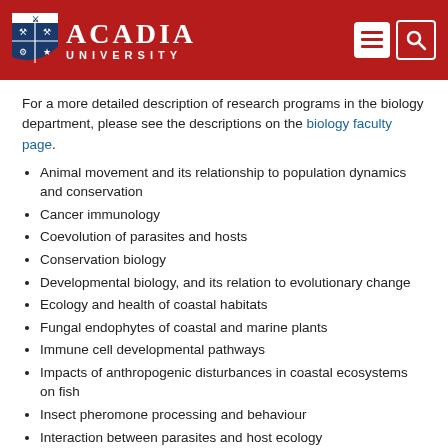ACADIA UNIVERSITY
For a more detailed description of research programs in the biology department, please see the descriptions on the biology faculty page.
Animal movement and its relationship to population dynamics and conservation
Cancer immunology
Coevolution of parasites and hosts
Conservation biology
Developmental biology, and its relation to evolutionary change
Ecology and health of coastal habitats
Fungal endophytes of coastal and marine plants
Immune cell developmental pathways
Impacts of anthropogenic disturbances in coastal ecosystems on fish
Insect pheromone processing and behaviour
Interaction between parasites and host ecology
Management and recovery of species at risk
Molecular evolution and molecular systematics in bivalves and mammals
Natural history of beetles and birds in forested and agricultural landscapes
Floral character evolution in family Rosaceae and genus Vaccinum
Pest management in forestry and agriculture